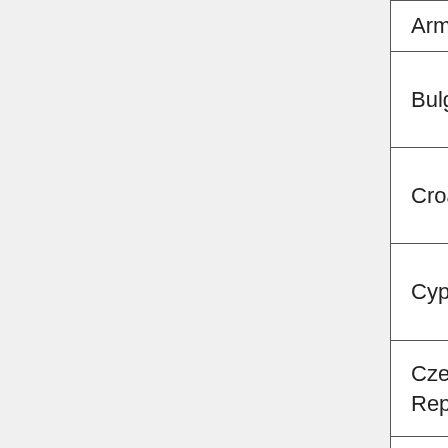| Country | Name | Email |
| --- | --- | --- |
| Armenia | Astsatryan | hrach@sc… |
| Bulgaria | Aneta Karaivanova | anet@para… |
| Croatia | Emir Imamagic | eimamagic… |
| Cyprus | Maria Poveda | mpoveda@… |
| Czech Republic | Ivana Krenkova | krenkova@… |
| Denmark | Martin Veicherts | mave@gfy… |
| Finland | Jura Tarus | jura.tarus@… |
| France | Genevieve Romier |  |
|  | Ramaz |  |